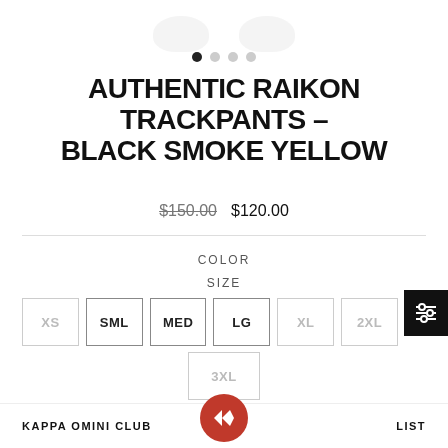[Figure (photo): Partial product images (trackpants) shown at top of page, two partial views visible]
AUTHENTIC RAIKON TRACKPANTS – BLACK SMOKE YELLOW
$150.00  $120.00
COLOR
SIZE
XS
SML
MED
LG
XL
2XL
3XL
2 in stock
ADD TO CART
KAPPA OMINI CLUB
LIST